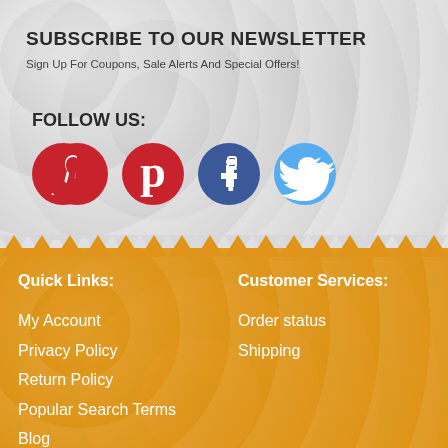SUBSCRIBE TO OUR NEWSLETTER
Sign Up For Coupons, Sale Alerts And Special Offers!
FOLLOW US:
[Figure (illustration): Social media icons: Pinterest (red circle with P logo), Facebook (blue circle with f logo), Twitter (light blue circle with bird logo)]
Quick Links:
My Account
Privacy Policy
Return Policy
Popular Search Terms
Blog
Legal
Privacy Policy
Customer Services:
Order status
Shipping